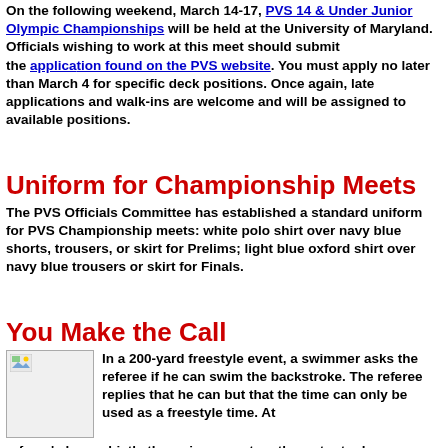On the following weekend, March 14-17, PVS 14 & Under Junior Olympic Championships will be held at the University of Maryland. Officials wishing to work at this meet should submit the application found on the PVS website. You must apply no later than March 4 for specific deck positions. Once again, late applications and walk-ins are welcome and will be assigned to available positions.
Uniform for Championship Meets
The PVS Officials Committee has established a standard uniform for PVS Championship meets: white polo shirt over navy blue shorts, trousers, or skirt for Prelims; light blue oxford shirt over navy blue trousers or skirt for Finals.
You Make the Call
[Figure (illustration): Small image placeholder with broken image icon]
In a 200-yard freestyle event, a swimmer asks the referee if he can swim the backstroke. The referee replies that he can but that the time can only be used as a freestyle time. At the referee's long whistle the swimmer enters the water to do a backstroke start. The referee signals to the starter that the field is his and the starter starts the race. Was this correct?
See the answer at the bottom of this newsletter.